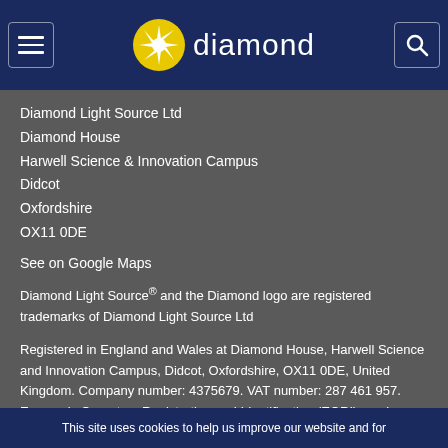diamond
Diamond Light Source Ltd
Diamond House
Harwell Science & Innovation Campus
Didcot
Oxfordshire
OX11 0DE
See on Google Maps
Diamond Light Source® and the Diamond logo are registered trademarks of Diamond Light Source Ltd
Registered in England and Wales at Diamond House, Harwell Science and Innovation Campus, Didcot, Oxfordshire, OX11 0DE, United Kingdom. Company number: 4375679. VAT number: 287 461 957. Economic Operators Registration and Identification (EORI) number: GB287461957003.
This site uses cookies to help us improve our website and for